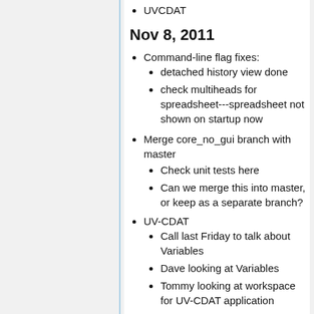UVCDAT
Nov 8, 2011
Command-line flag fixes:
detached history view done
check multiheads for spreadsheet---spreadsheet not shown on startup now
Merge core_no_gui branch with master
Check unit tests here
Can we merge this into master, or keep as a separate branch?
UV-CDAT
Call last Friday to talk about Variables
Dave looking at Variables
Tommy looking at workspace for UV-CDAT application